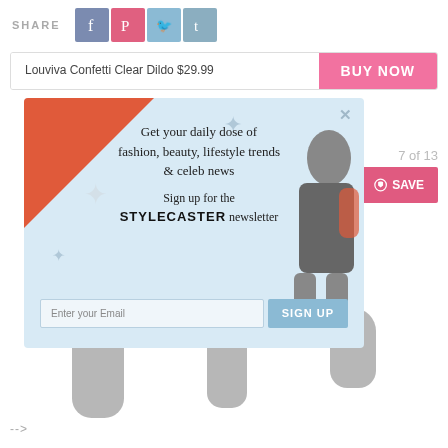SHARE — social icons: Facebook, Pinterest, Twitter, Tumblr
Louviva Confetti Clear Dildo $29.99   BUY NOW
[Figure (screenshot): Newsletter popup overlay on product page. Light blue background with orange triangle top-left, stars decorations, woman photo at right. Text: 'Get your daily dose of fashion, beauty, lifestyle trends & celeb news. Sign up for the STYLECASTER newsletter.' Email input field and SIGN UP button. X close button top-right. '7 of 13' counter and pink SAVE button visible at right.]
-->